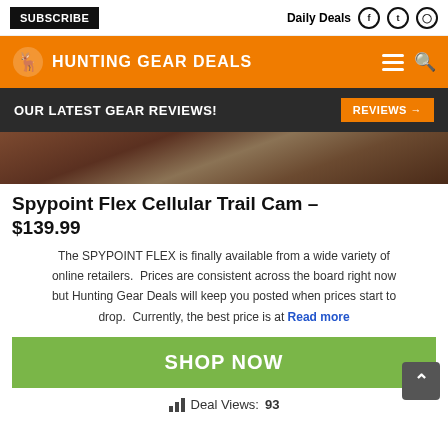SUBSCRIBE | Daily Deals
HUNTING GEAR DEALS
OUR LATEST GEAR REVIEWS! REVIEWS →
[Figure (photo): Partial view of a trail camera mounted on a tree trunk]
Spypoint Flex Cellular Trail Cam – $139.99
The SPYPOINT FLEX is finally available from a wide variety of online retailers.  Prices are consistent across the board right now but Hunting Gear Deals will keep you posted when prices start to drop.  Currently, the best price is at Read more
SHOP NOW
Deal Views: 93